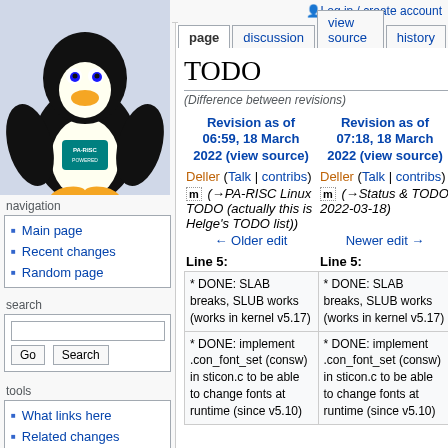Log in / create account
TODO
(Difference between revisions)
Revision as of 06:59, 18 March 2022 (view source)
Deller (Talk | contribs)
m (→PA-RISC Linux TODO (actually this is Helge's TODO list))
← Older edit
Revision as of 07:18, 18 March 2022 (view source)
Deller (Talk | contribs)
m (→Status & TODO 2022-03-18)
Newer edit →
Line 5:
Line 5:
| Left | Right |
| --- | --- |
| * DONE: SLAB breaks, SLUB works (works in kernel v5.17) | * DONE: SLAB breaks, SLUB works (works in kernel v5.17) |
| * DONE: implement .con_font_set (consw) in sticon.c to be able to change fonts at runtime (since v5.10) | * DONE: implement .con_font_set (consw) in sticon.c to be able to change fonts at runtime (since v5.10) |
Main page
Recent changes
Random page
What links here
Related changes
Special pages
Printable version
Permanent link